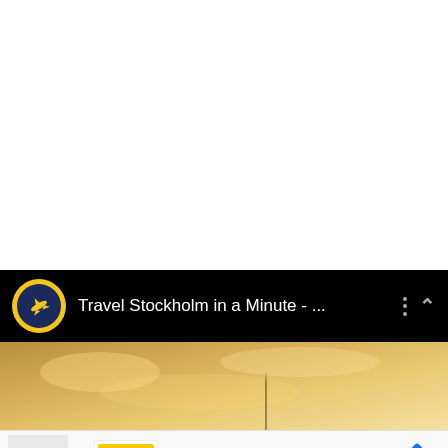[Figure (screenshot): White blank area at top of page, approximately 270px tall]
[Figure (screenshot): YouTube-style video bar with dark/black background showing a travel channel icon (airplane in circle, yellow on navy) and title 'Travel Stockholm in a Minute - ...' with three-dots menu and chevron-up controls on the right]
[Figure (photo): Partial thumbnail image showing a warm golden-toned sky with clouds and a distant tower/structure silhouette]
[Figure (screenshot): Advertisement bar showing Lidl store ad with play/skip controls on left, Lidl logo thumbnail, checkmark icon and 'In-store shopping' text, and a blue diamond navigation arrow icon on the right]